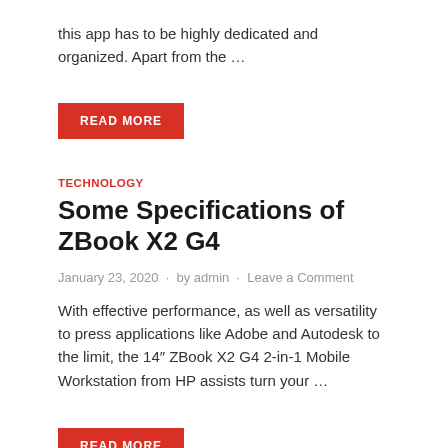this app has to be highly dedicated and organized. Apart from the …
READ MORE
TECHNOLOGY
Some Specifications of ZBook X2 G4
January 23, 2020  ·  by admin  ·  Leave a Comment
With effective performance, as well as versatility to press applications like Adobe and Autodesk to the limit, the 14″ ZBook X2 G4 2-in-1 Mobile Workstation from HP assists turn your …
READ MORE